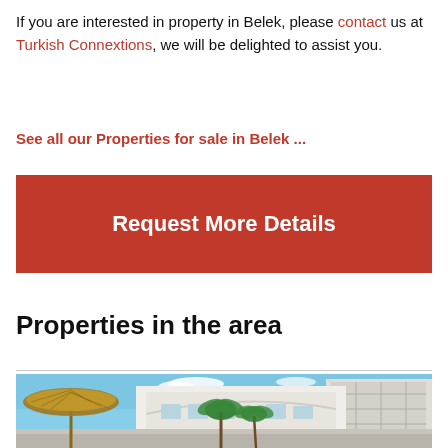If you are interested in property in Belek, please contact us at Turkish Connextions, we will be delighted to assist you.
See all our Properties for sale in Belek ...
Request More Details
Properties in the area
[Figure (photo): Outdoor resort area with thatched umbrella, palm trees, and modern white apartment buildings under a blue sky.]